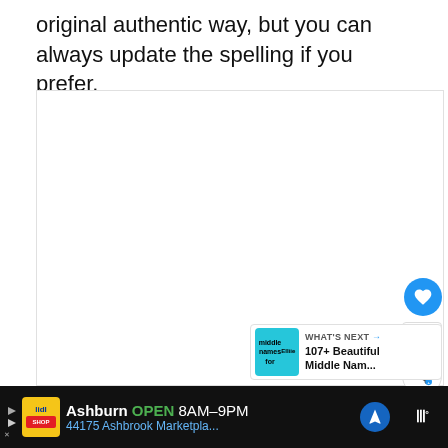original authentic way, but you can always update the spelling if you prefer.
[Figure (screenshot): White content area box with a like button (heart icon, blue circle), count of 1, and share button on the right side. A 'WHAT'S NEXT' panel in the bottom right showing '107+ Beautiful Middle Nam...' with a teal thumbnail.]
[Figure (screenshot): Advertisement bar at the bottom: Lidl ad showing 'Ashburn OPEN 8AM-9PM 44175 Ashbrook Marketpla...' with navigation icon, on dark background. Right side has a dark panel with wifi-like icon.]